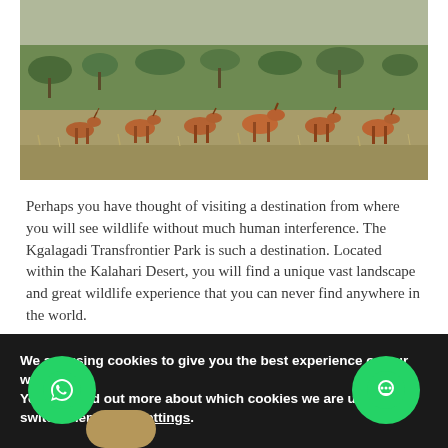[Figure (photo): A herd of reddish-brown antelope (likely red hartebeest) standing in a semi-arid savanna landscape with green scrub bushes and dry grass in the background.]
Perhaps you have thought of visiting a destination from where you will see wildlife without much human interference. The Kgalagadi Transfrontier Park is such a destination. Located within the Kalahari Desert, you will find a unique vast landscape and great wildlife experience that you can never find anywhere in the world.
The variety of animals you will find include herds of black-
We are using cookies to give you the best experience on our website.
You can find out more about which cookies we are using or switch them off in settings.